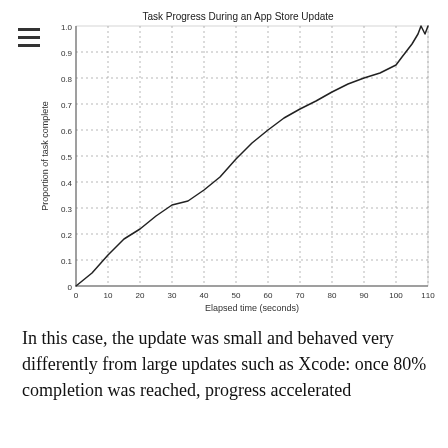[Figure (continuous-plot): Line chart showing task progress during an App Store update. X-axis: elapsed time 0-110 seconds. Y-axis: proportion of task complete 0-1.0. The curve starts at origin, rises roughly linearly to about 0.85 at 100 seconds, then sharply accelerates to 1.0 at about 105-110 seconds.]
In this case, the update was small and behaved very differently from large updates such as Xcode: once 80% completion was reached, progress accelerated